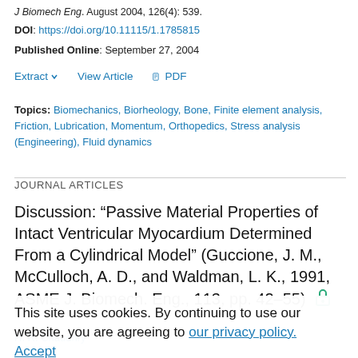J Biomech Eng. August 2004, 126(4): 539.
DOI: https://doi.org/10.11115/1.1785815
Published Online: September 27, 2004
Extract  View Article  PDF
Topics: Biomechanics, Biorheology, Bone, Finite element analysis, Friction, Lubrication, Momentum, Orthopedics, Stress analysis (Engineering), Fluid dynamics
JOURNAL ARTICLES
Discussion: “Passive Material Properties of Intact Ventricular Myocardium Determined From a Cylindrical Model” (Guccione, J. M., McCulloch, A. D., and Waldman, L. K., 1991, ASME J. Biomech. Eng., 113, pp. 42–55)
H. R. Chaudhry
This site uses cookies. By continuing to use our website, you are agreeing to our privacy policy. Accept